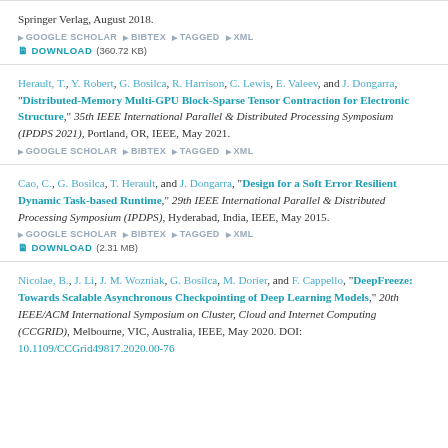Springer Verlag, August 2018. GOOGLE SCHOLAR BIBTEX TAGGED XML DOWNLOAD (360.72 KB)
Herault, T., Y. Robert, G. Bosilca, R. Harrison, C. Lewis, E. Valeev, and J. Dongarra, "Distributed-Memory Multi-GPU Block-Sparse Tensor Contraction for Electronic Structure," 35th IEEE International Parallel & Distributed Processing Symposium (IPDPS 2021), Portland, OR, IEEE, May 2021. GOOGLE SCHOLAR BIBTEX TAGGED XML
Cao, C., G. Bosilca, T. Herault, and J. Dongarra, "Design for a Soft Error Resilient Dynamic Task-based Runtime," 29th IEEE International Parallel & Distributed Processing Symposium (IPDPS), Hyderabad, India, IEEE, May 2015. GOOGLE SCHOLAR BIBTEX TAGGED XML DOWNLOAD (2.31 MB)
Nicolae, B., J. Li, J. M. Wozniak, G. Bosilca, M. Dorier, and F. Cappello, "DeepFreeze: Towards Scalable Asynchronous Checkpointing of Deep Learning Models," 20th IEEE/ACM International Symposium on Cluster, Cloud and Internet Computing (CCGRID), Melbourne, VIC, Australia, IEEE, May 2020. DOI: 10.1109/CCGrid49817.2020.00-76